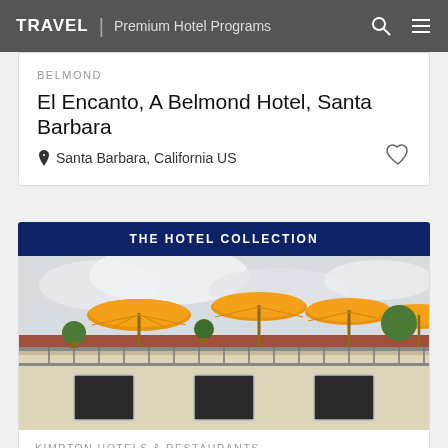TRAVEL | Premium Hotel Programs
BELMOND
El Encanto, A Belmond Hotel, Santa Barbara
Santa Barbara, California US
THE HOTEL COLLECTION
[Figure (photo): Exterior of Kimpton Canary Hotel showing rooftop terrace with orange patio umbrellas above a beige building facade with dark windows]
KIMPTON HOTELS & RESTAURANTS
Kimpton Canary Hotel